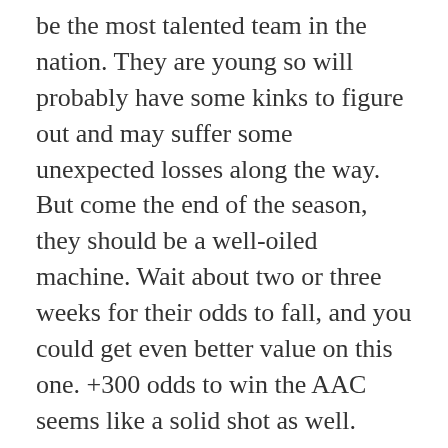be the most talented team in the nation. They are young so will probably have some kinks to figure out and may suffer some unexpected losses along the way. But come the end of the season, they should be a well-oiled machine. Wait about two or three weeks for their odds to fall, and you could get even better value on this one. +300 odds to win the AAC seems like a solid shot as well.
ARIZONA +2800
Arizona is another team with a nice combination of leadership and young talent,